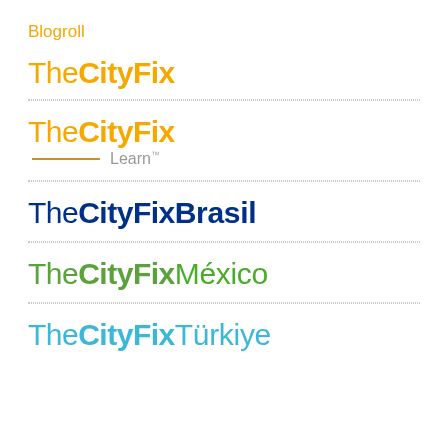Blogroll
[Figure (logo): TheCityFix logo in yellow/orange]
[Figure (logo): TheCityFix Learn logo in yellow/orange with gold line and gray Learn text]
[Figure (logo): TheCityFix:Brasil logo in dark blue]
[Figure (logo): TheCityFix:México logo in green]
[Figure (logo): TheCityFix:Türkiye logo in cyan]